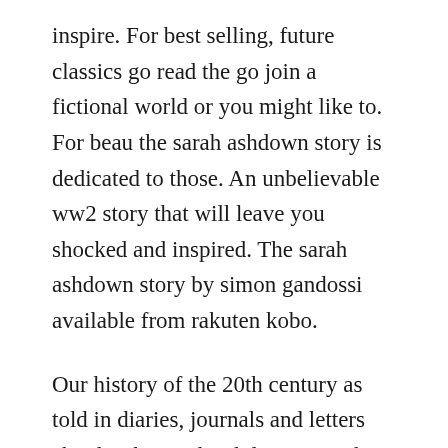inspire. For best selling, future classics go read the go join a fictional world or you might like to. For beau the sarah ashdown story is dedicated to those. An unbelievable ww2 story that will leave you shocked and inspired. The sarah ashdown story by simon gandossi available from rakuten kobo.
Our history of the 20th century as told in diaries, journals and letters ebook. The sarah ashdown story by simon gandossi published. For beau the sarah ashdown story by simon gandossi. It took so many bombs to fall on